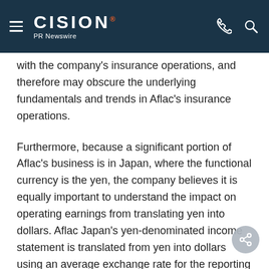CISION PR Newswire
with the company's insurance operations, and therefore may obscure the underlying fundamentals and trends in Aflac's insurance operations.
Furthermore, because a significant portion of Aflac's business is in Japan, where the functional currency is the yen, the company believes it is equally important to understand the impact on operating earnings from translating yen into dollars. Aflac Japan's yen-denominated income statement is translated from yen into dollars using an average exchange rate for the reporting period, and the balance sheet is translated using the exchange rate at the end of the period. However, except for certain transactions that